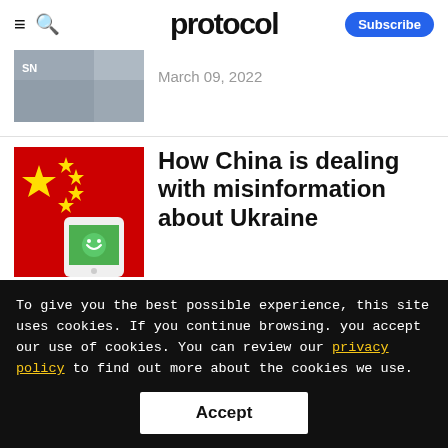protocol — Subscribe
[Figure (photo): Small thumbnail image of a protest scene with people holding signs near a building]
March 09, 2022
[Figure (photo): Chinese flag (red with yellow stars) with a smartphone showing WeChat in the foreground]
How China is dealing with misinformation about Ukraine
To give you the best possible experience, this site uses cookies. If you continue browsing. you accept our use of cookies. You can review our privacy policy to find out more about the cookies we use.
Accept